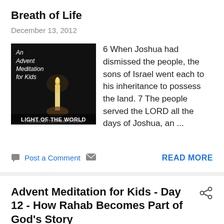Breath of Life
December 13, 2012
[Figure (photo): Dark background image with a candle flame and text: An Advent Meditation for Kids - LIGHT OF THE WORLD]
6 When Joshua had dismissed the people, the sons of Israel went each to his inheritance to possess the land. 7 The people served the LORD all the days of Joshua, an ...
Post a Comment   READ MORE
Advent Meditation for Kids - Day 12 - How Rahab Becomes Part of God's Story
December 12, 2012